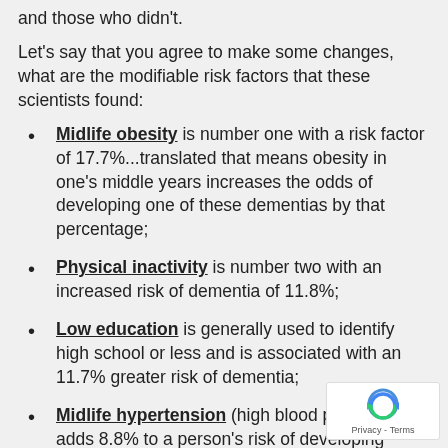and those who didn't.
Let's say that you agree to make some changes, what are the modifiable risk factors that these scientists found:
Midlife obesity is number one with a risk factor of 17.7%...translated that means obesity in one's middle years increases the odds of developing one of these dementias by that percentage;
Physical inactivity is number two with an increased risk of dementia of 11.8%;
Low education is generally used to identify high school or less and is associated with an 11.7% greater risk of dementia;
Midlife hypertension (high blood pressure) adds 8.8% to a person's risk of developing dementia in later years;